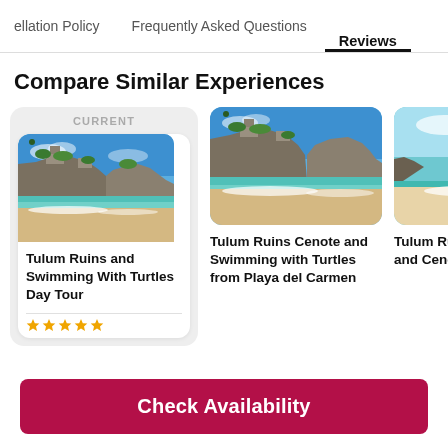ellation Policy   Frequently Asked Questions   Reviews
Compare Similar Experiences
CURRENT
[Figure (photo): Tulum ruins on cliff above sandy beach with turquoise water]
Tulum Ruins and Swimming With Turtles Day Tour
[Figure (photo): Tulum ruins on cliff above sandy beach with turquoise water, similar scene]
Tulum Ruins Cenote and Swimming with Turtles from Playa del Carmen
[Figure (photo): Turquoise Caribbean beach with rocky coastline, partial view]
Tulum Ruins, in Akumal and Cenote tour
Check Availability